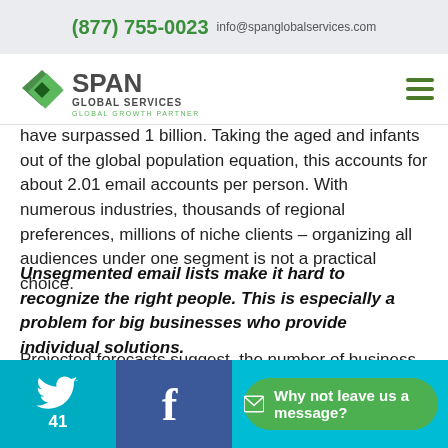(877) 755-0023   info@spanglobalservices.com
[Figure (logo): Span Global Services logo with green diamond shapes and text SPAN GLOBAL SERVICES - GLOBAL GROWTH PARTNER]
have surpassed 1 billion. Taking the aged and infants out of the global population equation, this accounts for about 2.01 email accounts per person. With numerous industries, thousands of regional preferences, millions of niche clients – organizing all audiences under one segment is not a practical choice.
Unsegmented email lists make it hard to recognize the right people. This is especially a problem for big businesses who provide individual solutions.
Projected forecasts suggest, the number of business mails going out per day will hit 120 billion soon. That is
41  Why not leave us a message?